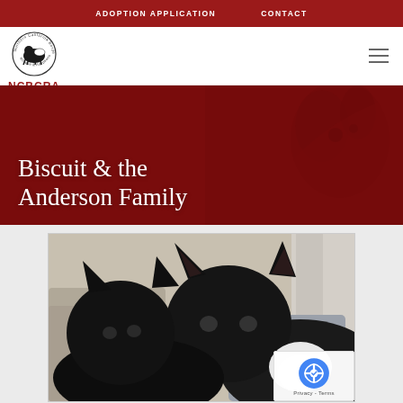ADOPTION APPLICATION   CONTACT
[Figure (logo): Northern California Border Collie Rescue & Adoptions NCBCRA circular logo with dog silhouette]
Biscuit & the Anderson Family
[Figure (photo): Close-up photo of a black and white cat (or border collie) resting on furniture, looking toward camera]